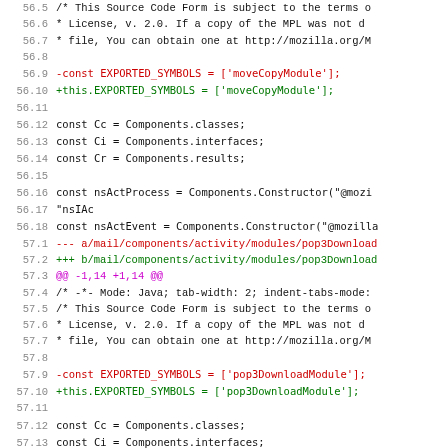Code diff view showing source lines 56.5-58.1 with line numbers and syntax highlighting
[Figure (screenshot): Source code diff view showing JavaScript/Mozilla code with red deleted lines and green added lines, including EXPORTED_SYMBOLS changes for moveCopyModule and pop3DownloadModule]